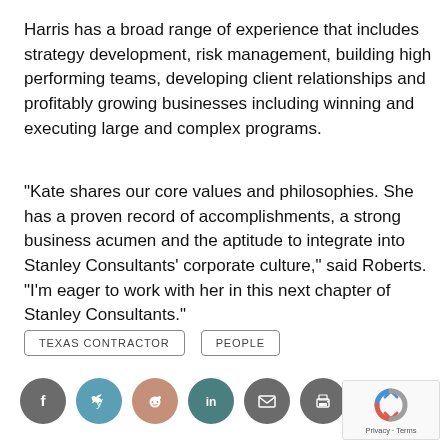Harris has a broad range of experience that includes strategy development, risk management, building high performing teams, developing client relationships and profitably growing businesses including winning and executing large and complex programs.
"Kate shares our core values and philosophies. She has a proven record of accomplishments, a strong business acumen and the aptitude to integrate into Stanley Consultants' corporate culture," said Roberts. "I'm eager to work with her in this next chapter of Stanley Consultants."
TEXAS CONTRACTOR
PEOPLE
[Figure (other): Social media sharing icons: Facebook, Twitter, Reddit, LinkedIn, Email, Print]
[Figure (other): reCAPTCHA widget with Privacy and Terms links]